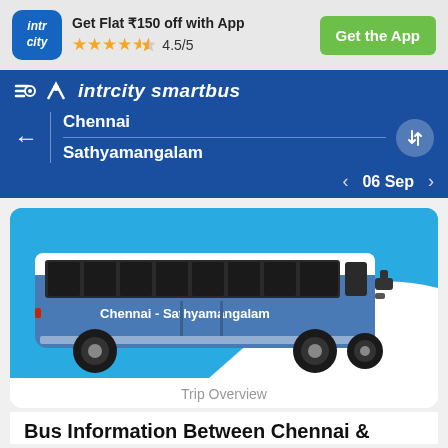[Figure (screenshot): IntrCity logo box - blue rounded square with 'intr city' text in white italic]
Get Flat ₹150 off with App
★★★★½ 4.5/5
Get the App
intrcity smartbus
Chennai
Sathyamangalam
06 Sep
[Figure (illustration): Blue and white intercity bus with text 'Chennai - Sathyamangalam' on the side, shown on a blue background with white wave shape]
Trip Overview
Bus Information Between Chennai &